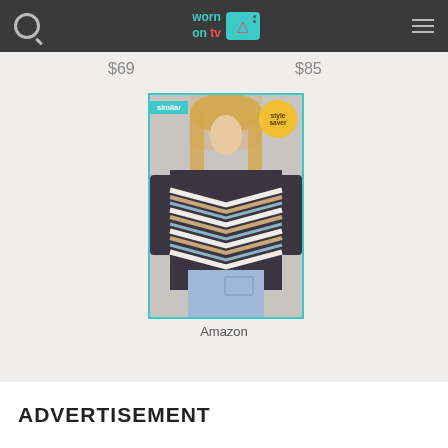worn on tv — navigation header with search and menu icons
$69
$85
[Figure (photo): Product image of a chevron-stripe knit sweater worn by a blonde woman, with 'similar' badge top-left and 'style saver' badge top-right, teal border]
Amazon
ADVERTISEMENT